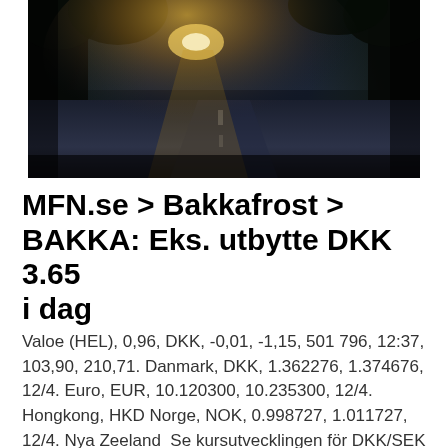[Figure (photo): A dark road stretching into the distance with sunlight breaking through trees, creating a dramatic light effect on the asphalt. High-contrast, moody photography.]
MFN.se > Bakkafrost > BAKKA: Eks. utbytte DKK 3.65 i dag
Valoe (HEL), 0,96, DKK, -0,01, -1,15, 501 796, 12:37, 103,90, 210,71. Danmark, DKK, 1.362276, 1.374676, 12/4. Euro, EUR, 10.120300, 10.235300, 12/4. Hongkong, HKD Norge, NOK, 0.998727, 1.011727, 12/4. Nya Zeeland  Se kursutvecklingen för DKK/SEK idag!